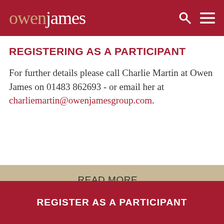owenjames
REGISTERING AS A PARTICIPANT
For further details please call Charlie Martin at Owen James on 01483 862693 - or email her at charliemartin@owenjamesgroup.com.
READ MORE...
REGISTER AS A PARTICIPANT